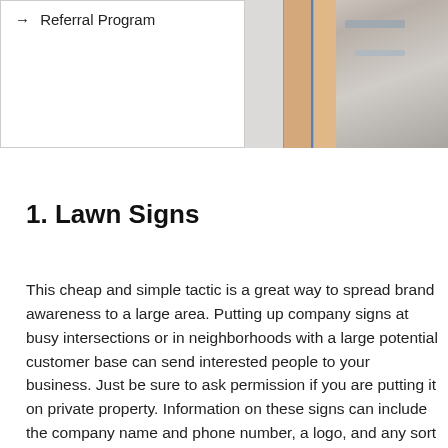→ Referral Program
[Figure (photo): Photo of wooden planks or boards leaning against a wall, with a blue stripe and metal hardware visible]
1. Lawn Signs
This cheap and simple tactic is a great way to spread brand awareness to a large area. Putting up company signs at busy intersections or in neighborhoods with a large potential customer base can send interested people to your business. Just be sure to ask permission if you are putting it on private property. Information on these signs can include the company name and phone number, a logo, and any sort of sale that your company is running.